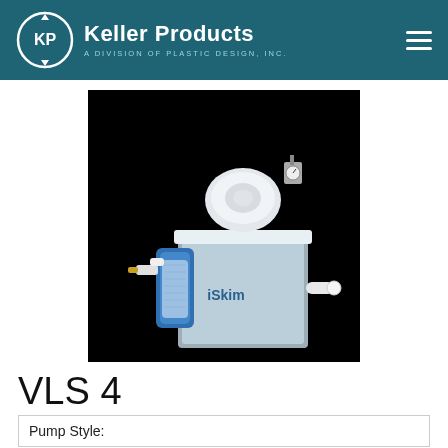Keller Products — A Division of Plastic Design, Inc.
[Figure (photo): VLS 4 product photo: a clear plastic liquid skimming unit with blue filter housing, white diaphragm pump on top, pressure gauge, and white pipe fittings, photographed against a black background. 'iSkim' branding visible on tank.]
VLS 4
| Pump Style: |